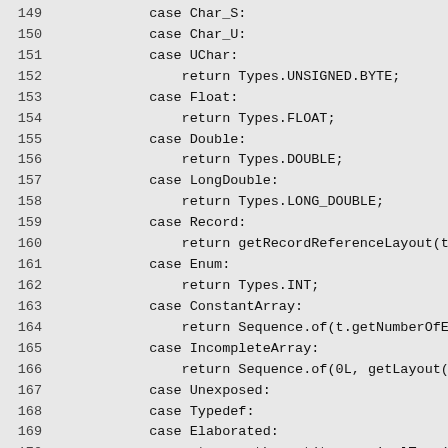Code listing lines 149-179, showing Java switch-case statements handling various type kinds including Char_S, Char_U, UChar, Float, Double, LongDouble, Record, Enum, ConstantArray, IncompleteArray, Unexposed, Typedef, Elaborated, Pointer, BlockPointer, and default cases.